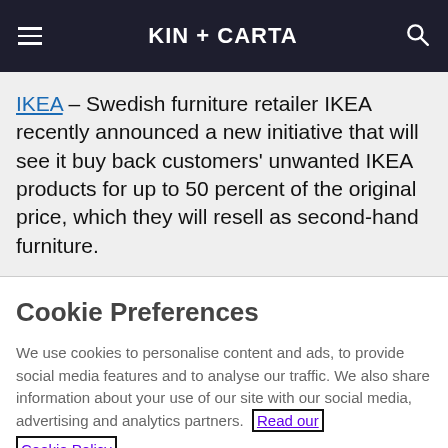KIN + CARTA
IKEA – Swedish furniture retailer IKEA recently announced a new initiative that will see it buy back customers' unwanted IKEA products for up to 50 percent of the original price, which they will resell as second-hand furniture.
Cookie Preferences
We use cookies to personalise content and ads, to provide social media features and to analyse our traffic. We also share information about your use of our site with our social media, advertising and analytics partners. Read our Cookie Policy
Manage Preferences
Accept All Cookies